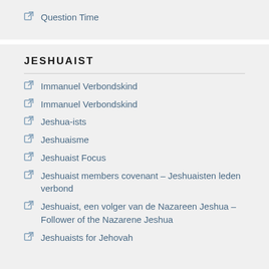Question Time
JESHUAIST
Immanuel Verbondskind
Immanuel Verbondskind
Jeshua-ists
Jeshuaisme
Jeshuaist Focus
Jeshuaist members covenant – Jeshuaisten leden verbond
Jeshuaist, een volger van de Nazareen Jeshua – Follower of the Nazarene Jeshua
Jeshuaists for Jehovah